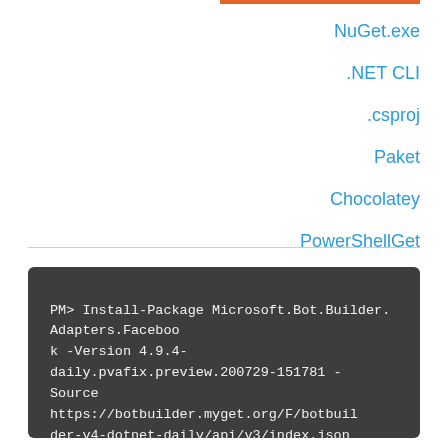NuGet.exe
.NET CLI
.csproj
Paket
Chocolatey
PowerShellGet
PM> Install-Package Microsoft.Bot.Builder.Adapters.Facebook -Version 4.9.4-daily.pvafix.preview.200729-151781 -Source https://botbuilder.myget.org/F/botbuilder-v4-dotnet-daily/api/v3/index.json